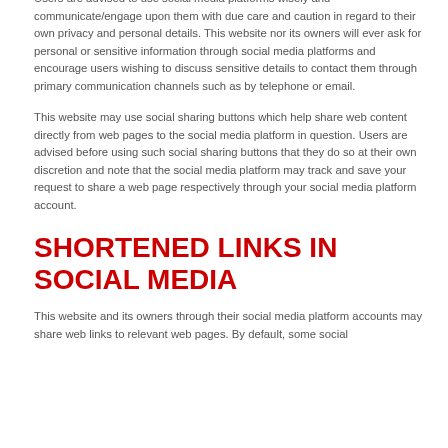Users are advised to use social media platforms wisely and communicate/engage upon them with due care and caution in regard to their own privacy and personal details. This website nor its owners will ever ask for personal or sensitive information through social media platforms and encourage users wishing to discuss sensitive details to contact them through primary communication channels such as by telephone or email.
This website may use social sharing buttons which help share web content directly from web pages to the social media platform in question. Users are advised before using such social sharing buttons that they do so at their own discretion and note that the social media platform may track and save your request to share a web page respectively through your social media platform account.
SHORTENED LINKS IN SOCIAL MEDIA
This website and its owners through their social media platform accounts may share web links to relevant web pages. By default, some social